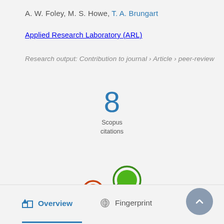A. W. Foley, M. S. Howe, T. A. Brungart
Applied Research Laboratory (ARL)
Research output: Contribution to journal › Article › peer-review
[Figure (infographic): Scopus citations badge showing the number 8 in blue with 'Scopus citations' label below]
[Figure (logo): Altmetric donut logo — colorful circles (orange, green, purple) connected by dark purple spiderweb-like lines]
Overview
Fingerprint